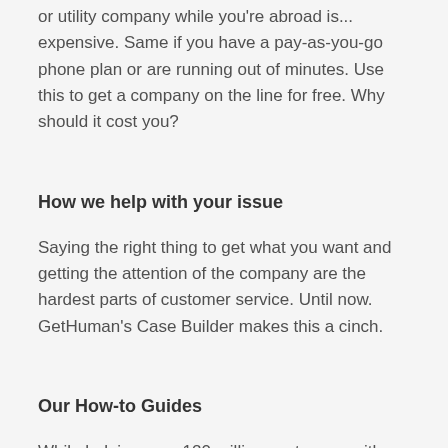We realized that calling GoDaddy.com, or your airline or utility company while you're abroad is... expensive. Same if you have a pay-as-you-go phone plan or are running out of minutes. Use this to get a company on the line for free. Why should it cost you?
How we help with your issue
Saying the right thing to get what you want and getting the attention of the company are the hardest parts of customer service. Until now. GetHuman's Case Builder makes this a cinch.
Our How-to Guides
While helping over 120 million customers with their customer service issues, we realized that the most